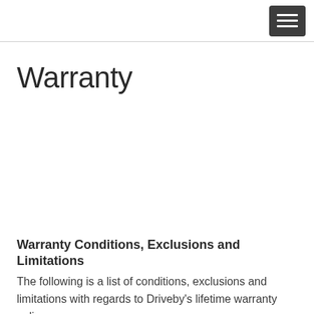Warranty
Warranty Conditions, Exclusions and Limitations
The following is a list of conditions, exclusions and limitations with regards to Driveby's lifetime warranty policy.